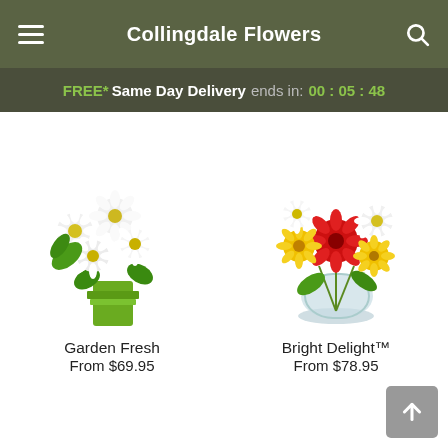Collingdale Flowers
FREE* Same Day Delivery ends in: 00 : 05 : 48
[Figure (photo): White daisy bouquet in a green square vase labeled Garden Fresh]
Garden Fresh
From $69.95
[Figure (photo): Colorful bouquet with red gerberas, yellow daisies and white flowers in a glass vase labeled Bright Delight]
Bright Delight™
From $78.95